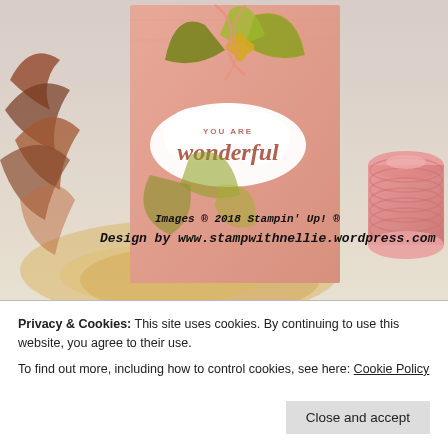[Figure (photo): Craft/stamping photo showing a peach-colored gift bag with gold and green leaf decorations, a white cloud-shaped label reading 'YOU ARE wonderful', autumn leaves on the left, and a spool of pink twine on the right. Watermark text reads 'Images © 2018 Stampin' Up! / Design by www.stampwithnellie.wordpress.com']
Privacy & Cookies: This site uses cookies. By continuing to use this website, you agree to their use.
To find out more, including how to control cookies, see here: Cookie Policy
Close and accept